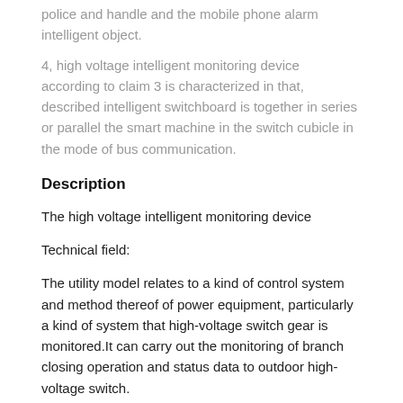police and handle and the mobile phone alarm intelligent object.
4, high voltage intelligent monitoring device according to claim 3 is characterized in that, described intelligent switchboard is together in series or parallel the smart machine in the switch cubicle in the mode of bus communication.
Description
The high voltage intelligent monitoring device
Technical field:
The utility model relates to a kind of control system and method thereof of power equipment, particularly a kind of system that high-voltage switch gear is monitored.It can carry out the monitoring of branch closing operation and status data to outdoor high-voltage switch.
Background technology:
Along with the increase of enterprise's distribution